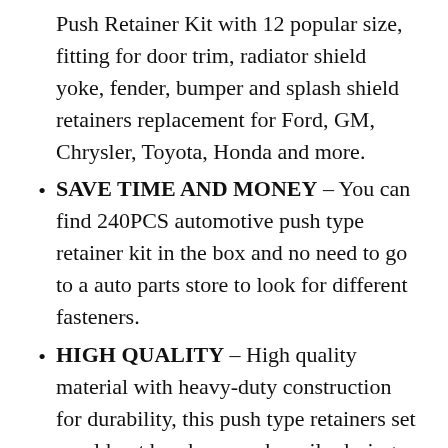Push Retainer Kit with 12 popular size, fitting for door trim, radiator shield yoke, fender, bumper and splash shield retainers replacement for Ford, GM, Chrysler, Toyota, Honda and more.
SAVE TIME AND MONEY – You can find 240PCS automotive push type retainer kit in the box and no need to go to a auto parts store to look for different fasteners.
HIGH QUALITY – High quality material with heavy-duty construction for durability, this push type retainers set would not break or crack easily during use.
MOST COMMON SIZES – Don not worry about lost or damaged body fasteners